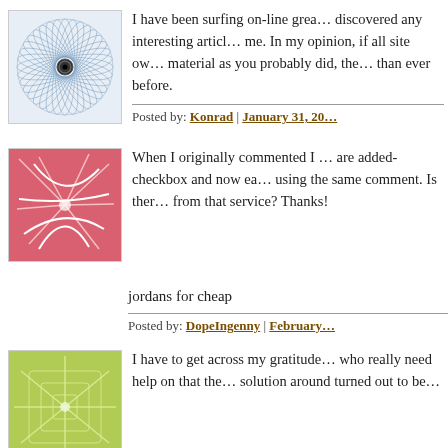[Figure (illustration): Circular geometric pattern avatar in blue/grey tones]
I have been surfing on-line greater than 3 hours today, yet I never discovered any interesting article like yours. It is lovely price enough for me. In my opinion, if all site owners and bloggers made good content material as you probably did, the internet will be much more useful than ever before.
Posted by: Konrad | January 31, 20...
[Figure (illustration): Abstract geometric pattern avatar in pink/red tones]
When I originally commented I clicked the 'Notify me when new comments are added- checkbox and now each time a comment is added I get four emails using the same comment. Is there any way you can remove me from that service? Thanks!
jordans for cheap
Posted by: DopeIngenny | February...
[Figure (illustration): Abstract geometric pattern avatar in green tones]
I have to get across my gratitude for your generosity for all people who really need help on that theme. Your very own dedication to getting the solution around turned out to be...